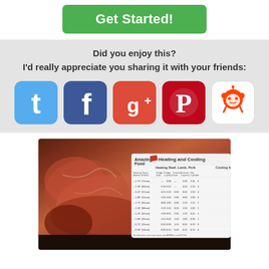[Figure (illustration): Green 'Get Started!' button with rounded corners on white background]
Did you enjoy this?
I'd really appreciate you sharing it with your friends:
[Figure (illustration): Social sharing icons: Twitter (blue), Facebook (dark blue), Google+ (red/orange), Pinterest (red), Reddit (white with alien logo)]
[Figure (photo): Photo of a raw steak/beef cut on a dark surface, with a meat heating and cooling reference card visible on the right side showing time/temperature data for Beef, Lamb, Pork]